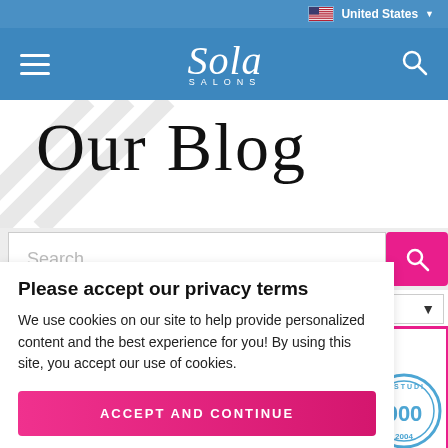United States
[Figure (logo): Sola Salons logo with hamburger menu and search icon on blue navigation bar]
Our Blog
Search...
Please accept our privacy terms
We use cookies on our site to help provide personalized content and the best experience for you! By using this site, you accept our use of cookies.
ACCEPT AND CONTINUE